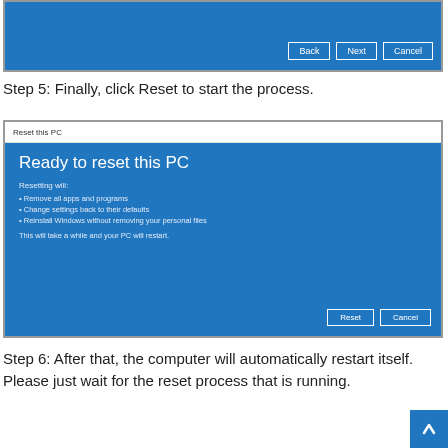[Figure (screenshot): Windows 10 Reset this PC dialog showing Back, Next, Cancel buttons on a blue background]
Step 5: Finally, click Reset to start the process.
[Figure (screenshot): Windows 10 'Reset this PC' dialog with title 'Ready to reset this PC', listing: Resetting will: Remove all apps and programs, Change settings back to their defaults, Reinstall Windows without removing your personal files. This will take a while and your PC will restart. Buttons: Reset, Cancel.]
Step 6: After that, the computer will automatically restart itself. Please just wait for the reset process that is running.